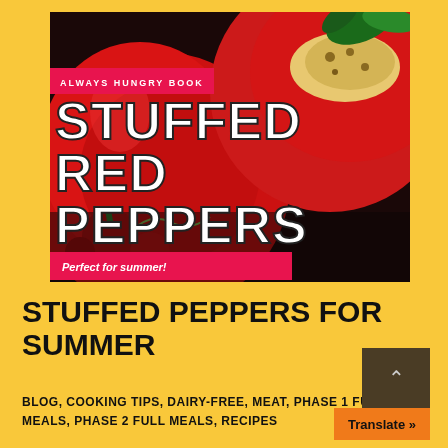[Figure (photo): Close-up photo of stuffed red peppers with a dark background showing bright red peppers filled with ingredients]
ALWAYS HUNGRY BOOK
STUFFED RED PEPPERS
Perfect for summer!
STUFFED PEPPERS FOR SUMMER
BLOG, COOKING TIPS, DAIRY-FREE, MEAT, PHASE 1 FULL MEALS, PHASE 2 FULL MEALS, RECIPES
Translate »